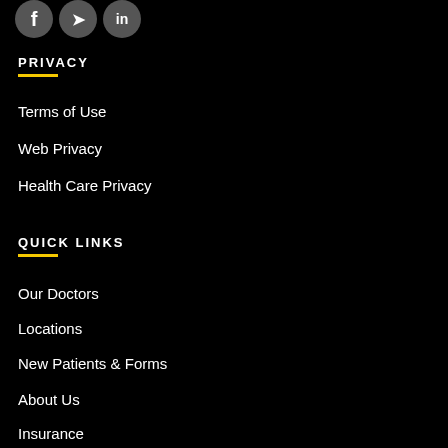[Figure (illustration): Partial social media icons (Facebook, Twitter, LinkedIn) shown as dark circles at top]
PRIVACY
Terms of Use
Web Privacy
Health Care Privacy
QUICK LINKS
Our Doctors
Locations
New Patients & Forms
About Us
Insurance